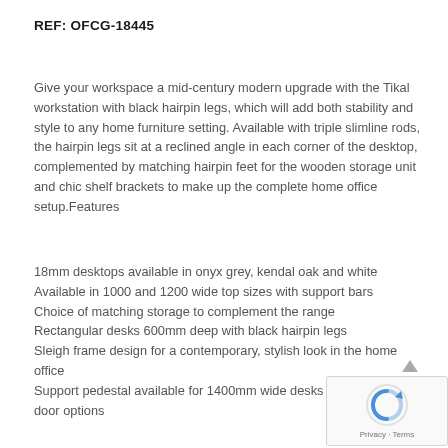REF: OFCG-18445
Give your workspace a mid-century modern upgrade with the Tikal workstation with black hairpin legs, which will add both stability and style to any home furniture setting. Available with triple slimline rods, the hairpin legs sit at a reclined angle in each corner of the desktop, complemented by matching hairpin feet for the wooden storage unit and chic shelf brackets to make up the complete home office setup.Features
18mm desktops available in onyx grey, kendal oak and white
Available in 1000 and 1200 wide top sizes with support bars
Choice of matching storage to complement the range
Rectangular desks 600mm deep with black hairpin legs
Sleigh frame design for a contemporary, stylish look in the home office
Support pedestal available for 1400mm wide desks with drawers or door options